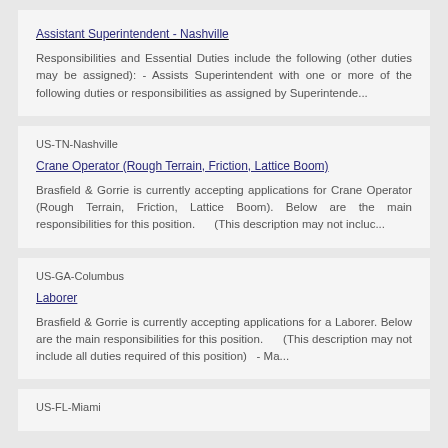Assistant Superintendent - Nashville
Responsibilities and Essential Duties include the following (other duties may be assigned): - Assists Superintendent with one or more of the following duties or responsibilities as assigned by Superintende...
US-TN-Nashville
Crane Operator (Rough Terrain, Friction, Lattice Boom)
Brasfield & Gorrie is currently accepting applications for Crane Operator (Rough Terrain, Friction, Lattice Boom). Below are the main responsibilities for this position.      (This description may not incluc...
US-GA-Columbus
Laborer
Brasfield & Gorrie is currently accepting applications for a Laborer. Below are the main responsibilities for this position.      (This description may not include all duties required of this position)   - Ma...
US-FL-Miami